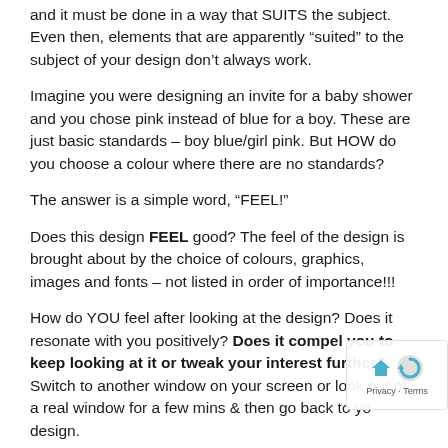and it must be done in a way that SUITS the subject. Even then, elements that are apparently “suited” to the subject of your design don’t always work.
Imagine you were designing an invite for a baby shower and you chose pink instead of blue for a boy. These are just basic standards – boy blue/girl pink. But HOW do you choose a colour where there are no standards?
The answer is a simple word, “FEEL!”
Does this design FEEL good? The feel of the design is brought about by the choice of colours, graphics, images and fonts – not listed in order of importance!!!
How do YOU feel after looking at the design? Does it resonate with you positively? Does it compel you to keep looking at it or tweak your interest further? Switch to another window on your screen or look out of a real window for a few mins & then go back to your design.
When you see your design again, does it give you that